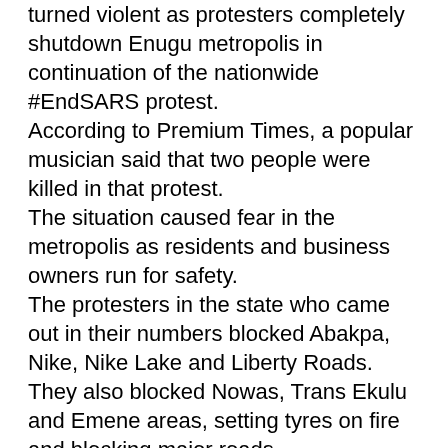turned violent as protesters completely shutdown Enugu metropolis in continuation of the nationwide #EndSARS protest. According to Premium Times, a popular musician said that two people were killed in that protest. The situation caused fear in the metropolis as residents and business owners run for safety. The protesters in the state who came out in their numbers blocked Abakpa, Nike, Nike Lake and Liberty Roads. They also blocked Nowas, Trans Ekulu and Emene areas, setting tyres on fire and blocking major roads. The coal city state came to a halt as movements were obstructed and business activities in the town was affected. Emene shop owners hurriedly closed their shops, the same happened at Abakpa market and the timber market in Abakpa. The same panic forced business owners and banks around Ogui Road and Okpara Avenue, among others, to closed for fear of being attacked. At Okpara Square, a popular place where protesters use to gather every morning before taking off was taken over by